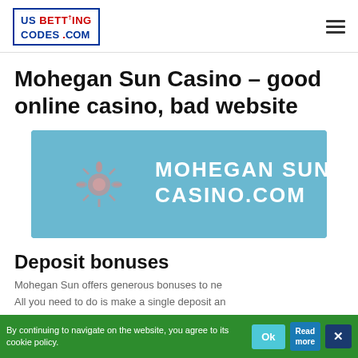US BETTING CODES .COM
Mohegan Sun Casino – good online casino, bad website
[Figure (logo): Mohegan Sun Casino .com logo banner with teal/blue background and decorative tribal sun graphic]
Deposit bonuses
By continuing to navigate on the website, you agree to its cookie policy.